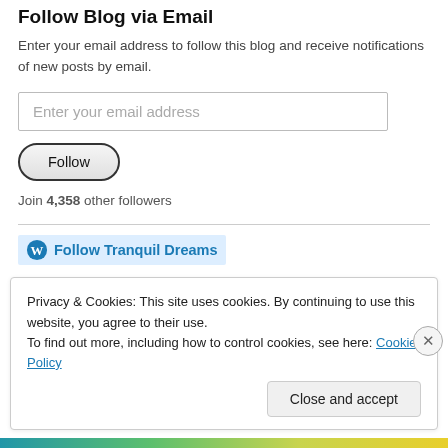Follow Blog via Email
Enter your email address to follow this blog and receive notifications of new posts by email.
Enter your email address
Follow
Join 4,358 other followers
Follow Tranquil Dreams
Privacy & Cookies: This site uses cookies. By continuing to use this website, you agree to their use.
To find out more, including how to control cookies, see here: Cookie Policy
Close and accept